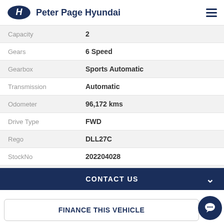Peter Page Hyundai
| Spec | Value |
| --- | --- |
| Capacity | 2 |
| Gears | 6 Speed |
| Gearbox | Sports Automatic |
| Transmission | Automatic |
| Odometer | 96,172 kms |
| Drive Type | FWD |
| Rego | DLL27C |
| StockNo | 202204028 |
| VIN | KMHJ3814MHU387368 |
CONTACT US
FINANCE THIS VEHICLE